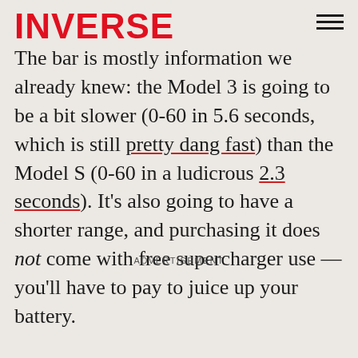INVERSE
The bar is mostly information we already knew: the Model 3 is going to be a bit slower (0-60 in 5.6 seconds, which is still pretty dang fast) than the Model S (0-60 in a ludicrous 2.3 seconds). It's also going to have a shorter range, and purchasing it does not come with free supercharger use — you'll have to pay to juice up your battery.
ADVERTISEMENT